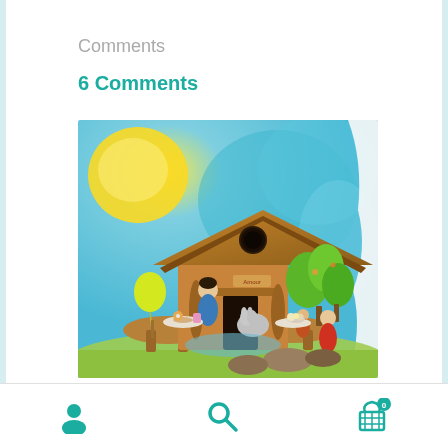Comments
6 Comments
[Figure (photo): A wooden toy house (birdhouse-style) with small peg doll figures gathered around wooden slab tables, a yellow balloon on a stick, green tree cutouts, and a colorful painted sky backdrop in blue and yellow. The scene depicts a whimsical outdoor gathering with handcrafted wooden toys.]
Navigation bar with user icon, search icon, and shopping cart icon with badge showing 0